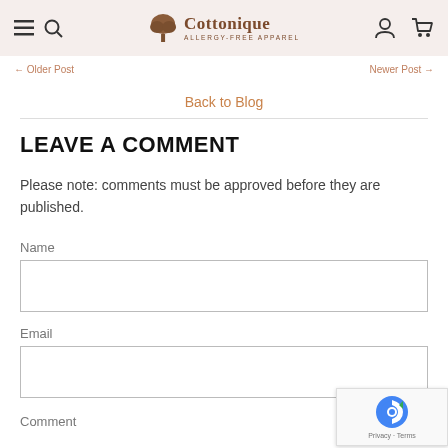Cottonique — ALLERGY-FREE APPAREL
← Older Post   Newer Post →
Back to Blog
LEAVE A COMMENT
Please note: comments must be approved before they are published.
Name
Email
Comment